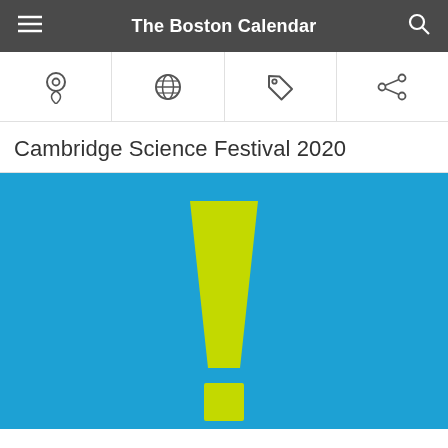The Boston Calendar
[Figure (screenshot): Navigation icon bar with four icons: location pin, globe/web, tag, and share icons]
Cambridge Science Festival 2020
[Figure (illustration): Blue background with a large yellow-green exclamation mark graphic, representing the Cambridge Science Festival 2020 logo/poster]